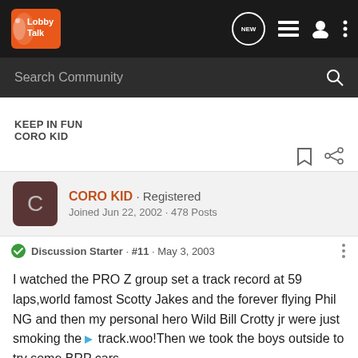[Figure (logo): Lobby Talk forum logo with orange and white text on dark background]
Search Community
KEEP IN FUN
CORO KID
CORO KID · Registered
Joined Jun 22, 2002 · 478 Posts
Discussion Starter · #11 · May 3, 2003
I watched the PRO Z group set a track record at 59 laps,world famost Scotty Jakes and the forever flying Phil NG and then my personal hero Wild Bill Crotty jr were just smoking the track.woo!Then we took the boys outside to try some BRP cars